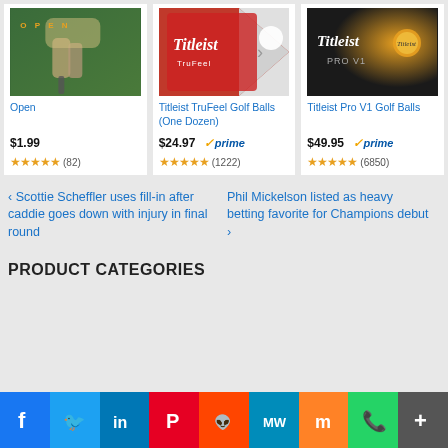[Figure (photo): Product card: Open (golf movie) with person holding club, green background, OPEN text in gold]
Open
$1.99
★★★★★ (82)
[Figure (photo): Product card: Titleist TruFeel Golf Balls box, red and white design]
Titleist TruFeel Golf Balls (One Dozen)
$24.97 ✓prime
★★★★★ (1222)
[Figure (photo): Product card: Titleist Pro V1 Golf Balls box, dark/black and gold design]
Titleist Pro V1 Golf Balls
$49.95 ✓prime
★★★★★ (6850)
‹ Scottie Scheffler uses fill-in after caddie goes down with injury in final round
Phil Mickelson listed as heavy betting favorite for Champions debut ›
PRODUCT CATEGORIES